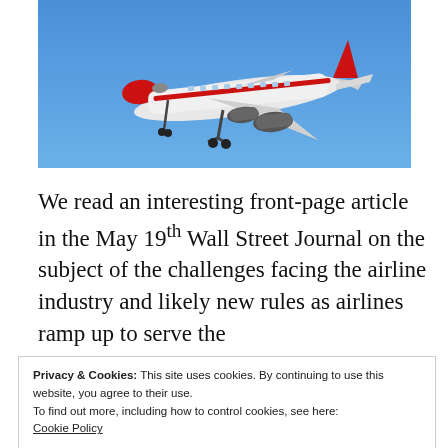[Figure (photo): A passenger jet airplane with red nose and engine livery approaching for landing against a bright blue sky, landing gear deployed.]
We read an interesting front-page article in the May 19th Wall Street Journal on the subject of the challenges facing the airline industry and likely new rules as airlines ramp up to serve the
Privacy & Cookies: This site uses cookies. By continuing to use this website, you agree to their use.
To find out more, including how to control cookies, see here:
Cookie Policy
the smallest of creature comforts from